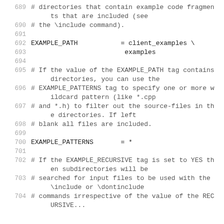689  # directories that contain example code fragments that are included (see
690  # the \include command).
691
692  EXAMPLE_PATH           = client_examples \
693                           examples
694
695  # If the value of the EXAMPLE_PATH tag contains directories, you can use the
696  # EXAMPLE_PATTERNS tag to specify one or more wildcard pattern (like *.cpp
697  # and *.h) to filter out the source-files in the directories. If left
698  # blank all files are included.
699
700  EXAMPLE_PATTERNS       = *
701
702  # If the EXAMPLE_RECURSIVE tag is set to YES then subdirectories will be
703  # searched for input files to be used with the \include or \dontinclude
704  # commands irrespective of the value of the REC...